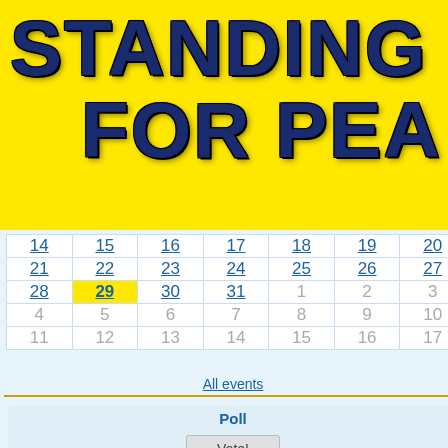[Figure (logo): Yellow banner with bold dark blue text 'STANDING FOR PEA' (truncated), with cracked lightning effect on letters]
| 14 | 15 | 16 | 17 | 18 | 19 | 20 |
| 21 | 22 | 23 | 24 | 25 | 26 | 27 |
| 28 | 29 | 30 | 31 | 1 | 2 | 3 |
| 4 | 5 | 6 | 7 | 8 | 9 | 10 |
| 11 | 12 | 13 | 14 | 15 | 16 | 17 |
All events
Poll
Vote!
flights have since December detection of a coronavirus CO
Tourist Train will be Launched Re
12.01.2021 09:16
A special weekend tourist t will run for passengers planning visit the winter estates of Fa Frost and Snegurochka - Ve Ustyug (Vologda Region) a Kostroma.
Ecological Routes with a Length of 1,0 Created in Sochi